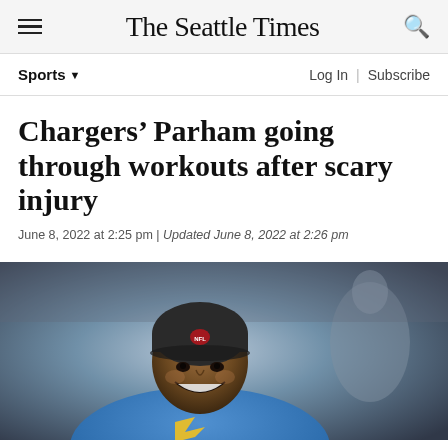The Seattle Times
Sports ▾
Log In | Subscribe
Chargers' Parham going through workouts after scary injury
June 8, 2022 at 2:25 pm | Updated June 8, 2022 at 2:26 pm
[Figure (photo): Smiling NFL player wearing a dark skull cap with NFL logo and a light blue Chargers jersey with yellow lightning bolt, photographed on the sideline]